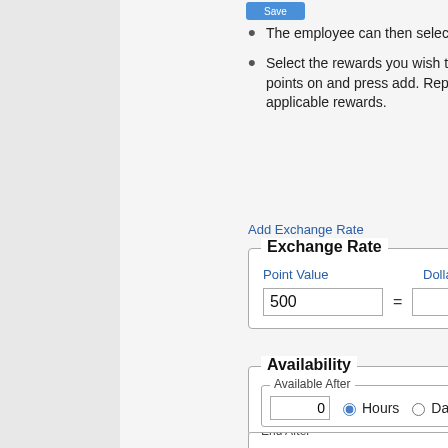[Figure (screenshot): Two blue buttons at the top of the right panel]
The employee can then select the item, ticket.
Select the rewards you wish to spend your points on and press add. Repeat this for all applicable rewards.
Add Exchange Rate
Exchange Rate - Point Value: 500 = Dollar Value: 5.00
Availability - Available After: 0 Hours / Days
End After